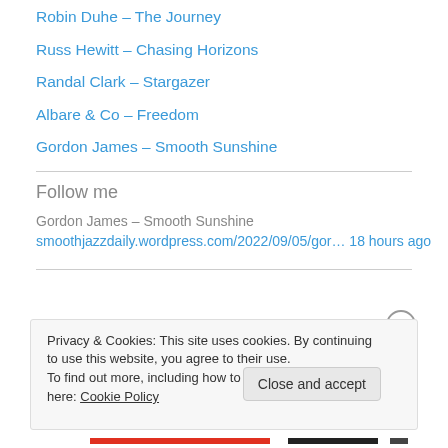Robin Duhe – The Journey
Russ Hewitt – Chasing Horizons
Randal Clark – Stargazer
Albare & Co – Freedom
Gordon James – Smooth Sunshine
Follow me
Gordon James – Smooth Sunshine
smoothjazzdaily.wordpress.com/2022/09/05/gor… 18 hours ago
Privacy & Cookies: This site uses cookies. By continuing to use this website, you agree to their use.
To find out more, including how to control cookies, see here: Cookie Policy